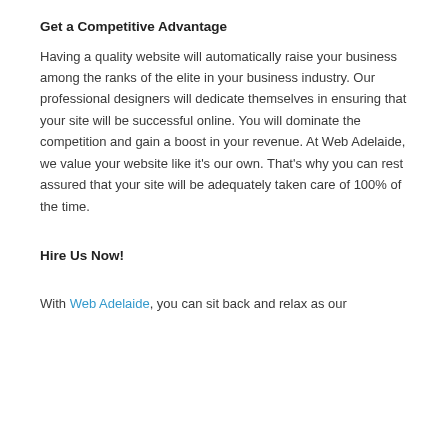Get a Competitive Advantage
Having a quality website will automatically raise your business among the ranks of the elite in your business industry. Our professional designers will dedicate themselves in ensuring that your site will be successful online. You will dominate the competition and gain a boost in your revenue. At Web Adelaide, we value your website like it's our own. That's why you can rest assured that your site will be adequately taken care of 100% of the time.
Hire Us Now!
With Web Adelaide, you can sit back and relax as our